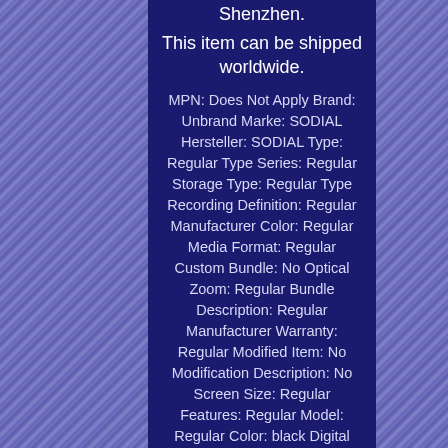Shenzhen.
This item can be shipped worldwide.
MPN: Does Not Apply Brand: Unbrand Marke: SODIAL Hersteller: SODIAL Type: Regular Type Series: Regular Storage Type: Regular Type Recording Definition: Regular Manufacturer Color: Regular Media Format: Regular Custom Bundle: No Optical Zoom: Regular Bundle Description: Regular Manufacturer Warranty: Regular Modified Item: No Modification Description: No Screen Size: Regular Features: Regular Model: Regular Color: black Digital Zoom: Regular Connectivity: Regular Country/Region of Manufacture: China California Prop 65 Warning: No
More info on eBay...